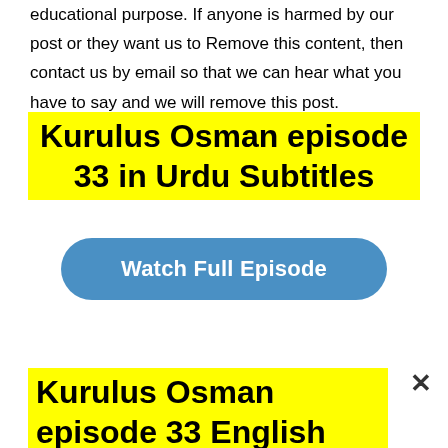educational purpose. If anyone is harmed by our post or they want us to Remove this content, then contact us by email so that we can hear what you have to say and we will remove this post.
Kurulus Osman episode 33 in Urdu Subtitles
[Figure (other): Blue rounded button labeled Watch Full Episode]
Kurulus Osman episode 33 English